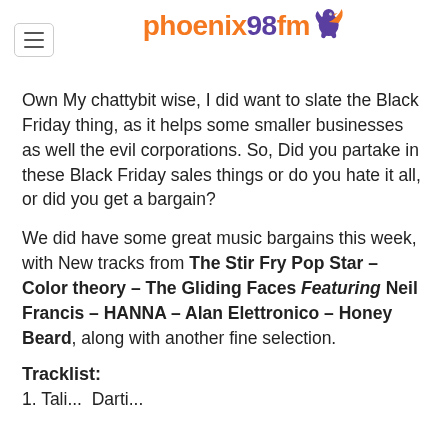phoenix98fm
Own My chattybit wise, I did want to slate the Black Friday thing, as it helps some smaller businesses as well the evil corporations. So, Did you partake in these Black Friday sales things or do you hate it all, or did you get a bargain?
We did have some great music bargains this week, with New tracks from The Stir Fry Pop Star - Color theory - The Gliding Faces Featuring Neil Francis - HANNA - Alan Elettronico - Honey Beard, along with another fine selection.
Tracklist:
1. Tali...  Darti...